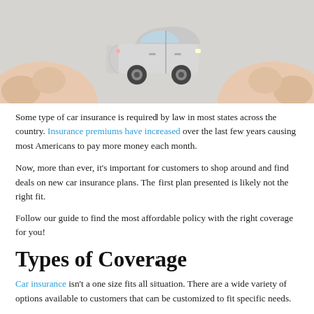[Figure (photo): Hands holding a small white toy car model against a light background, suggesting car insurance or car ownership concept.]
Some type of car insurance is required by law in most states across the country. Insurance premiums have increased over the last few years causing most Americans to pay more money each month.
Now, more than ever, it’s important for customers to shop around and find deals on new car insurance plans. The first plan presented is likely not the right fit.
Follow our guide to find the most affordable policy with the right coverage for you!
Types of Coverage
Car insurance isn’t a one size fits all situation. There are a wide variety of options available to customers that can be customized to fit specific needs.